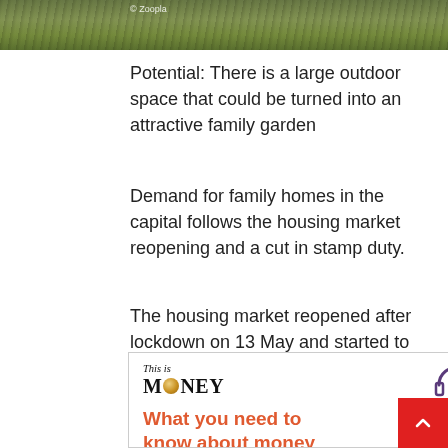[Figure (photo): Partial view of an outdoor garden/patio area with greenery and stone steps]
Potential: There is a large outdoor space that could be turned into an attractive family garden
Demand for family homes in the capital follows the housing market reopening and a cut in stamp duty.
The housing market reopened after lockdown on 13 May and started to ‘recover fairly rapidly’ according to Nationwide.
[Figure (infographic): This is Money podcast advertisement box with logo and headline 'What you need to know about money']